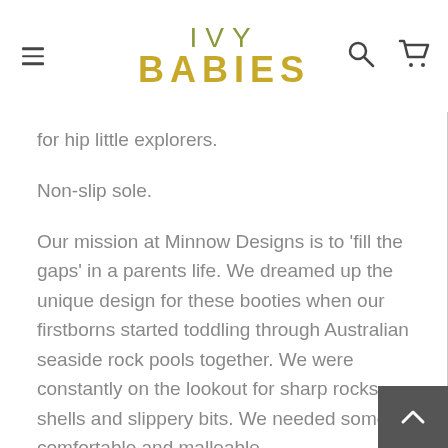IVY BABIES
for hip little explorers.
Non-slip sole.
Our mission at Minnow Designs is to ‘fill the gaps’ in a parents life. We dreamed up the unique design for these booties when our firstborns started toddling through Australian seaside rock pools together. We were constantly on the lookout for sharp rocks, shells and slippery bits. We needed something comfortable and malleable